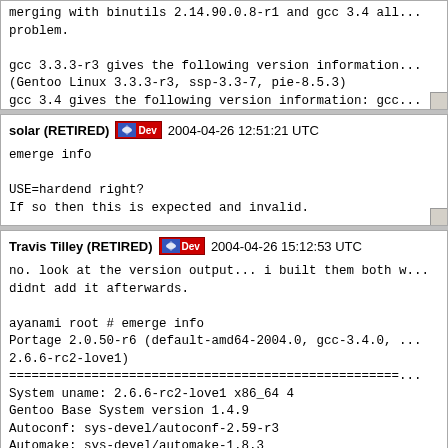merging with binutils 2.14.90.0.8-r1 and gcc 3.4 all...
problem.

gcc 3.3.3-r3 gives the following version information...
(Gentoo Linux 3.3.3-r3, ssp-3.3-7, pie-8.5.3)
gcc 3.4 gives the following version information: gcc...
(prerelease)  (Gentoo Linux 3.4.0_pre20040416, pie-8...
solar (RETIRED)  2004-04-26 12:51:21 UTC
emerge info

USE=hardend right?
If so then this is expected and invalid.
Travis Tilley (RETIRED)  2004-04-26 15:12:53 UTC
no. look at the version output... i built them both without...
didnt add it afterwards.

ayanami root # emerge info
Portage 2.0.50-r6 (default-amd64-2004.0, gcc-3.4.0, ...
2.6.6-rc2-love1)
====================================================...
System uname: 2.6.6-rc2-love1 x86_64 4
Gentoo Base System version 1.4.9
Autoconf: sys-devel/autoconf-2.59-r3
Automake: sys-devel/automake-1.8.3